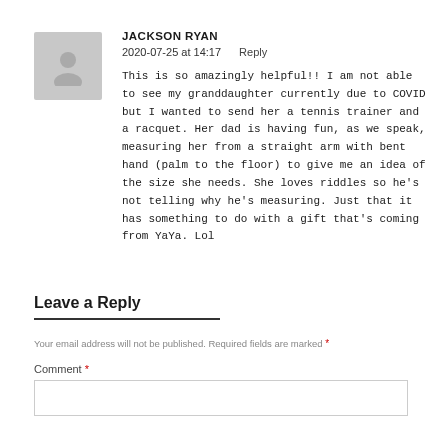JACKSON RYAN
2020-07-25 at 14:17    Reply
This is so amazingly helpful!! I am not able to see my granddaughter currently due to COVID but I wanted to send her a tennis trainer and a racquet. Her dad is having fun, as we speak, measuring her from a straight arm with bent hand (palm to the floor) to give me an idea of the size she needs. She loves riddles so he's not telling why he's measuring. Just that it has something to do with a gift that's coming from YaYa. Lol
Leave a Reply
Your email address will not be published. Required fields are marked *
Comment *